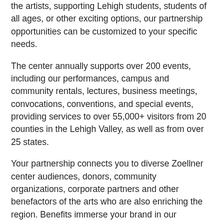the artists, supporting Lehigh students, students of all ages, or other exciting options, our partnership opportunities can be customized to your specific needs.
The center annually supports over 200 events, including our performances, campus and community rentals, lectures, business meetings, convocations, conventions, and special events, providing services to over 55,000+ visitors from 20 counties in the Lehigh Valley, as well as from over 25 states.
Your partnership connects you to diverse Zoellner center audiences, donors, community organizations, corporate partners and other benefactors of the arts who are also enriching the region. Benefits immerse your brand in our